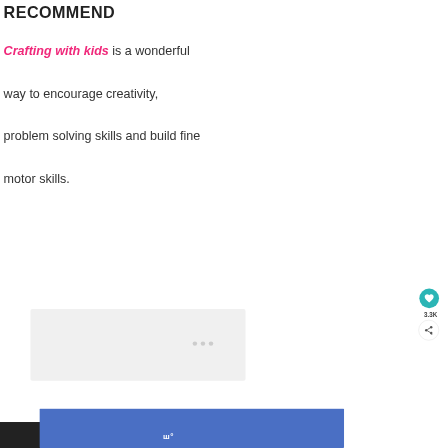RECOMMEND
Crafting with kids is a wonderful way to encourage creativity, problem solving skills and build fine motor skills.
[Figure (other): Image carousel placeholder with three navigation dots]
Advertisement bar with blue box and logo watermark